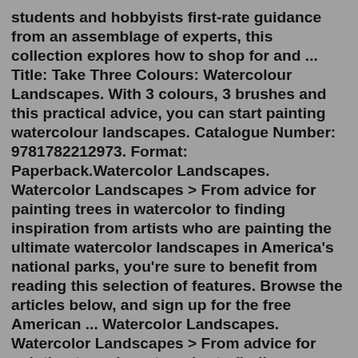students and hobbyists first-rate guidance from an assemblage of experts, this collection explores how to shop for and ... Title: Take Three Colours: Watercolour Landscapes. With 3 colours, 3 brushes and this practical advice, you can start painting watercolour landscapes. Catalogue Number: 9781782212973. Format: Paperback.Watercolor Landscapes. Watercolor Landscapes > From advice for painting trees in watercolor to finding inspiration from artists who are painting the ultimate watercolor landscapes in America's national parks, you're sure to benefit from reading this selection of features. Browse the articles below, and sign up for the free American ... Watercolor Landscapes. Watercolor Landscapes > From advice for painting trees in watercolor to finding inspiration from artists who are painting the ultimate watercolor landscapes in America's national parks, you're sure to benefit from reading this selection of features. Browse the articles below, and sign up for the free American ... Feb 12, 2022 - Explore Sharon Monadli's board "Arts, Watercolor